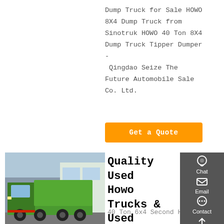Dump Truck for Sale HOWO 8X4 Dump Truck from Sinotruk HOWO 40 Ton 8X4 Dump Truck Tipper Dumper - Qingdao Seize The Future Automobile Sales Co. Ltd.
[Figure (other): Orange 'Get a Quote' button]
[Figure (photo): Green HOWO dump truck parked in front of a building]
Quality Used Howo Trucks & Used Tractor Trucks Factory
40 Ton 6x4 Second Hand
[Figure (other): Right sidebar with Chat, Email, Contact, and Top navigation icons on dark grey background]